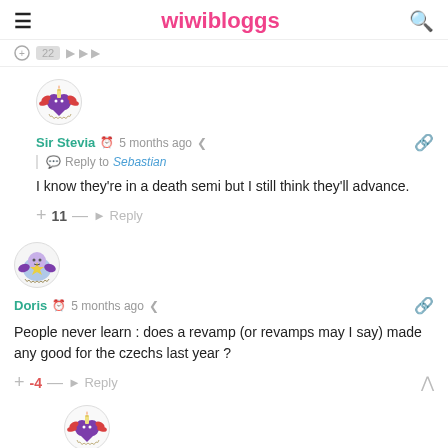wiwibloggs
Sir Stevia  5 months ago  Reply to Sebastian
I know they're in a death semi but I still think they'll advance.
+11 — Reply
Doris  5 months ago
People never learn : does a revamp (or revamps may I say) made any good for the czechs last year ?
+-4 — Reply